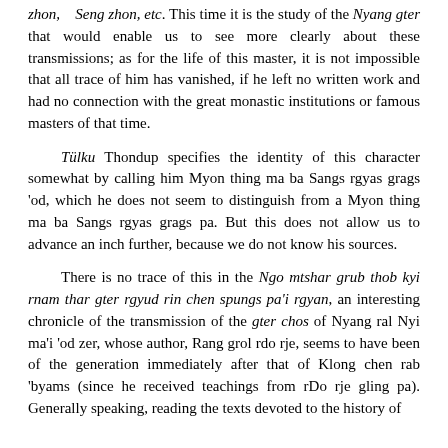zhon, Seng zhon, etc. This time it is the study of the Nyang gter that would enable us to see more clearly about these transmissions; as for the life of this master, it is not impossible that all trace of him has vanished, if he left no written work and had no connection with the great monastic institutions or famous masters of that time.
Tülku Thondup specifies the identity of this character somewhat by calling him Myon thing ma ba Sangs rgyas grags 'od, which he does not seem to distinguish from a Myon thing ma ba Sangs rgyas grags pa. But this does not allow us to advance an inch further, because we do not know his sources.
There is no trace of this in the Ngo mtshar grub thob kyi rnam thar gter rgyud rin chen spungs pa'i rgyan, an interesting chronicle of the transmission of the gter chos of Nyang ral Nyi ma'i 'od zer, whose author, Rang grol rdo rje, seems to have been of the generation immediately after that of Klong chen rab 'byams (since he received teachings from rDo rje gling pa). Generally speaking, reading the texts devoted to the history of